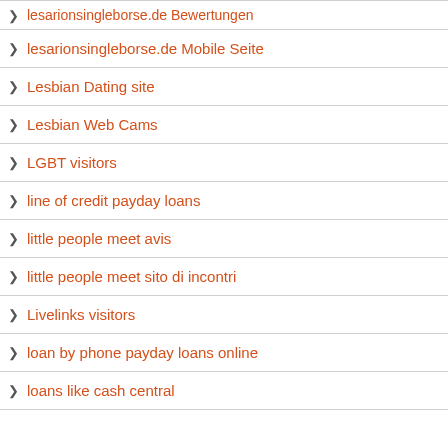lesarionsingleborse.de Bewertungen
lesarionsingleborse.de Mobile Seite
Lesbian Dating site
Lesbian Web Cams
LGBT visitors
line of credit payday loans
little people meet avis
little people meet sito di incontri
Livelinks visitors
loan by phone payday loans online
loans like cash central